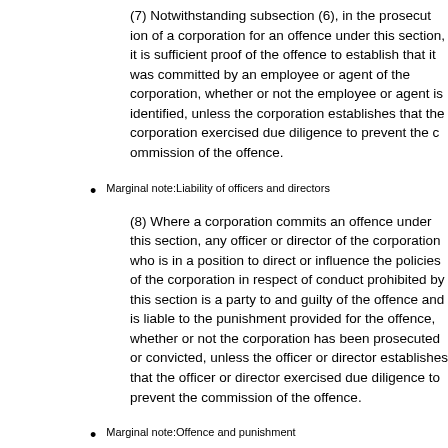(7) Notwithstanding subsection (6), in the prosecution of a corporation for an offence under this section, it is sufficient proof of the offence to establish that it was committed by an employee or agent of the corporation, whether or not the employee or agent is identified, unless the corporation establishes that the corporation exercised due diligence to prevent the commission of the offence.
Marginal note:Liability of officers and directors
(8) Where a corporation commits an offence under this section, any officer or director of the corporation who is in a position to direct or influence the policies of the corporation in respect of conduct prohibited by this section is a party to and guilty of the offence and is liable to the punishment provided for the offence, whether or not the corporation has been prosecuted or convicted, unless the officer or director establishes that the officer or director exercised due diligence to prevent the commission of the offence.
Marginal note:Offence and punishment
(9) Any person who contravenes subsection (2) or (…) is guilty of an offence and liable
(a) on conviction on indictment, to a fine in…